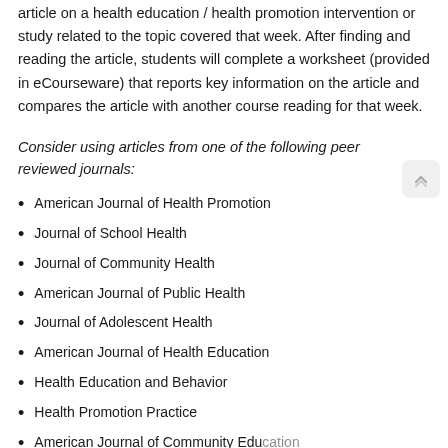article on a health education / health promotion intervention or study related to the topic covered that week. After finding and reading the article, students will complete a worksheet (provided in eCourseware) that reports key information on the article and compares the article with another course reading for that week.
Consider using articles from one of the following peer reviewed journals:
American Journal of Health Promotion
Journal of School Health
Journal of Community Health
American Journal of Public Health
Journal of Adolescent Health
American Journal of Health Education
Health Education and Behavior
Health Promotion Practice
American Journal of Community Education